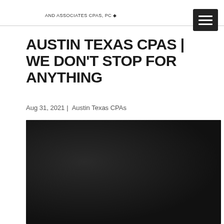AND ASSOCIATES CPAS, PC
AUSTIN TEXAS CPAS | WE DON'T STOP FOR ANYTHING
Aug 31, 2021 | Austin Texas CPAs
[Figure (photo): Dark background image, likely a nighttime or darkened scene related to the article about Austin Texas CPAs]